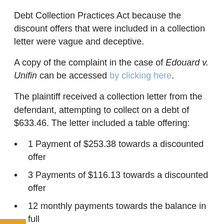Debt Collection Practices Act because the discount offers that were included in a collection letter were vague and deceptive.
A copy of the complaint in the case of Edouard v. Unifin can be accessed by clicking here.
The plaintiff received a collection letter from the defendant, attempting to collect on a debt of $633.46. The letter included a table offering:
1 Payment of $253.38 towards a discounted offer
3 Payments of $116.13 towards a discounted offer
12 monthly payments towards the balance in full
The plaintiff claims the offer in the letter violates Sections 1692e(10) of the FDCPA by making a false and misleading representation about the